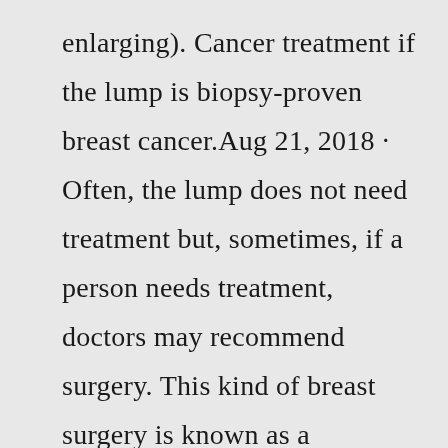enlarging). Cancer treatment if the lump is biopsy-proven breast cancer.Aug 21, 2018 · Often, the lump does not need treatment but, sometimes, if a person needs treatment, doctors may recommend surgery. This kind of breast surgery is known as a lumpectomy. In 2015 diagnosed with breast cancer had bilateral mastectomy found to be stage 0. No other treatment was needed per oncology referral. Everything was clear